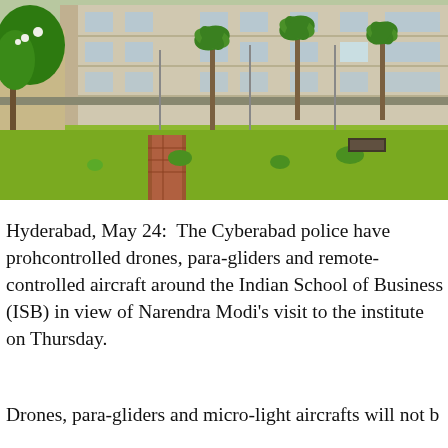[Figure (photo): Exterior photo of the Indian School of Business (ISB) campus building — a multi-storey sandstone-coloured structure with large windows, surrounded by lush green lawns, palm trees, and a brick pathway in the foreground.]
Hyderabad, May 24:  The Cyberabad police have prohibited remote-controlled drones, para-gliders and remote-controlled aircraft around the Indian School of Business (ISB) in view of Prime Minister Narendra Modi's visit to the institute on Thursday.
Drones, para-gliders and micro-light aircrafts will not be